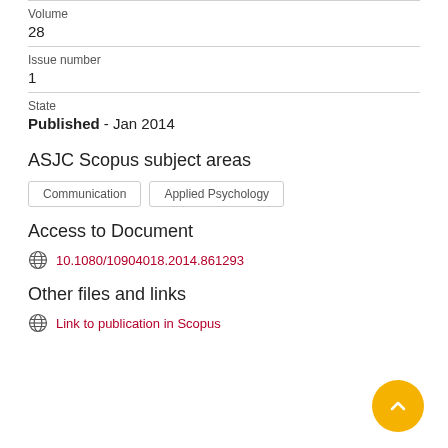Volume
28
Issue number
1
State
Published - Jan 2014
ASJC Scopus subject areas
Communication
Applied Psychology
Access to Document
10.1080/10904018.2014.861293
Other files and links
Link to publication in Scopus